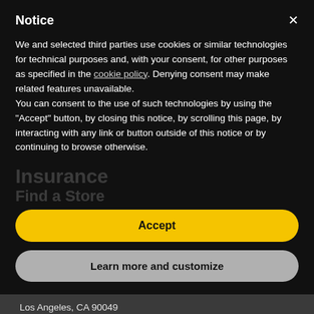Notice
We and selected third parties use cookies or similar technologies for technical purposes and, with your consent, for other purposes as specified in the cookie policy. Denying consent may make related features unavailable.
You can consent to the use of such technologies by using the "Accept" button, by closing this notice, by scrolling this page, by interacting with any link or button outside of this notice or by continuing to browse otherwise.
Accept
Learn more and customize
Our Address:
Advanced Skin and Hair
11661 San Vicente Blvd. Ste 301
Los Angeles, CA 90049